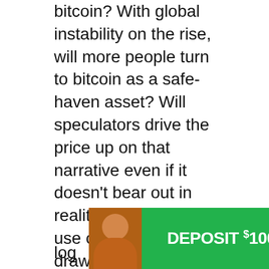bitcoin? With global instability on the rise, will more people turn to bitcoin as a safe-haven asset? Will speculators drive the price up on that narrative even if it doesn't bear out in reality? If Iranians use crypto, will that draw the attention and ire of regulators?
In a different area of the industry, Telegram has released updated information about their forthcoming crypto token TON. Most notable was the bombshell that the token would not be integrated into Telegram Messenger – wh... log... s.
[Figure (infographic): eToro X advertisement banner. Green background with a woman in an orange top on the left. Text reads 'DEPOSIT $100, GET $10' in large white bold letters. eToro X logo on the right with a 'Get started' button.]